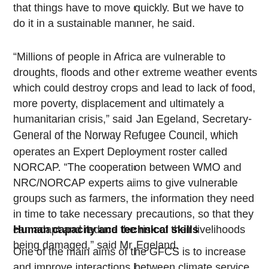that things have to move quickly. But we have to do it in a sustainable manner, he said.
“Millions of people in Africa are vulnerable to droughts, floods and other extreme weather events which could destroy crops and lead to lack of food, more poverty, displacement and ultimately a humanitarian crisis,” said Jan Egeland, Secretary-General of the Norway Refugee Council, which operates an Expert Deployment roster called NORCAP. “The cooperation between WMO and NRC/NORCAP experts aims to give vulnerable groups such as farmers, the information they need in time to take necessary precautions, so that they can adapt and reduce the risk of their livelihoods being damaged,” said Mr Egeland.
Human capacity and technical skills
One of the main aims of the GFCS is to increase and improve interactions between climate service providers